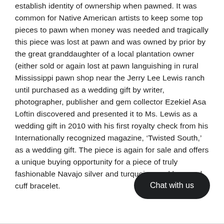establish identity of ownership when pawned. It was common for Native American artists to keep some top pieces to pawn when money was needed and tragically this piece was lost at pawn and was owned by prior by the great granddaughter of a local plantation owner (either sold or again lost at pawn languishing in rural Mississippi pawn shop near the Jerry Lee Lewis ranch until purchased as a wedding gift by writer, photographer, publisher and gem collector Ezekiel Asa Loftin discovered and presented it to Ms. Lewis as a wedding gift in 2010 with his first royalty check from his Internationally recognized magazine, ‘Twisted South,’ as a wedding gift. The piece is again for sale and offers a unique buying opportunity for a piece of truly fashionable Navajo silver and turquoise necklace and cuff bracelet.
[Figure (other): Dark rounded rectangle button with white text reading 'Chat with us']